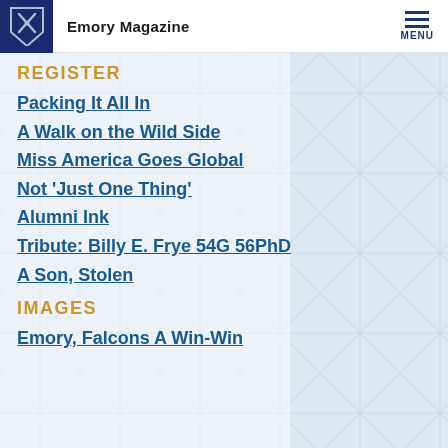Emory Magazine
REGISTER
Packing It All In
A Walk on the Wild Side
Miss America Goes Global
Not 'Just One Thing'
Alumni Ink
Tribute: Billy E. Frye 54G 56PhD
A Son, Stolen
IMAGES
Emory, Falcons A Win-Win